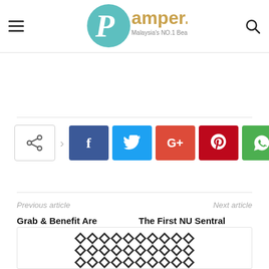Pamper.my — Malaysia's NO.1 Beauty & Lifestyle Website
[Figure (infographic): Social share bar with Facebook, Twitter, Google+, Pinterest, and WhatsApp buttons]
Previous article
Next article
Grab & Benefit Are Teaming Up To Make Sure Your Brows Are On Fleek
The First NU Sentral Fashion Fiesta 2016 Held Successfully
[Figure (other): Partial image with chevron/zigzag pattern at bottom of page]